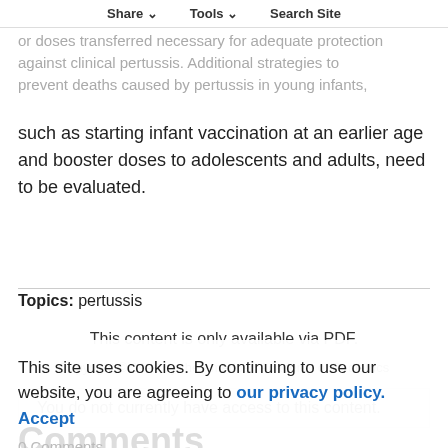Share   Tools   Search Site
or doses transferred necessary for adequate protection against clinical pertussis. Additional strategies to prevent deaths caused by pertussis in young infants, such as starting infant vaccination at an earlier age and booster doses to adolescents and adults, need to be evaluated.
Topics:  pertussis
This content is only available via PDF.
Copyright © 1996 by the American Academy of Pediatrics
You do not currently have access to this content.
This site uses cookies. By continuing to use our website, you are agreeing to our privacy policy. Accept
Comments
0 Comments